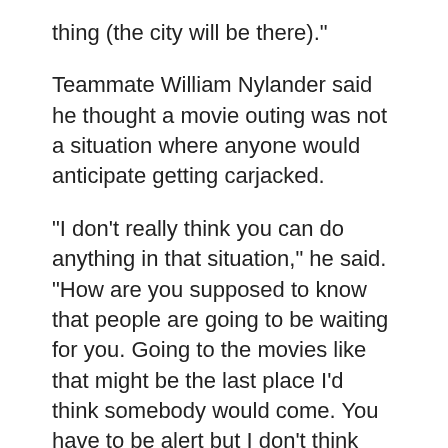thing (the city will be there)."
Teammate William Nylander said he thought a movie outing was not a situation where anyone would anticipate getting carjacked.
"I don’t really think you can do anything in that situation," he said. "How are you supposed to know that people are going to be waiting for you. Going to the movies like that might be the last place I’d think somebody would come. You have to be alert but I don’t think there’s much you can do if someone comes after you like that."
Marner and his teammates crashed out of the NHL playoffs on Saturday night with a heartbreaking 2-1 loss in Game 7 against the